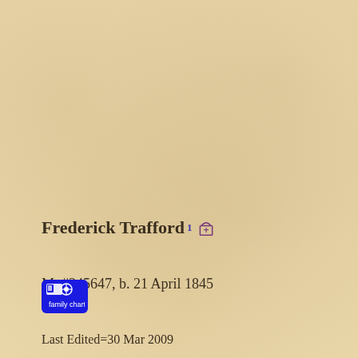Frederick Trafford
M, #345647, b. 21 April 1845
Last Edited=30 Mar 2009